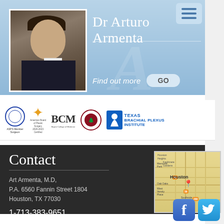Dr Arturo Armenta
Find out more  GO
[Figure (logo): Row of affiliation logos: ASPS Member Surgeon, American Board of Plastic Surgery, BCM Baylor College of Medicine, Stanford University seal, Texas Brachial Plexus Institute]
[Figure (photo): Professional headshot of Dr. Arturo Armenta in dark suit with red tie]
Contact
Art Armenta, M.D.
P.A. 6560 Fannin Street 1804
Houston, TX 77030
1-713-383-9651
[Figure (map): Google Maps thumbnail showing Houston area with location pin near 6560 Fannin Street]
[Figure (logo): Facebook and Twitter social media icons]